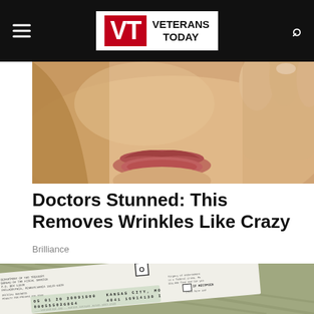Veterans Today
[Figure (photo): Close-up photo of a woman's lower face showing lips and chin, with a hand touching her cheek. Skin-toned photograph cropped at nose level.]
Doctors Stunned: This Removes Wrinkles Like Crazy
Brilliance
[Figure (photo): Close-up photo of a US Treasury check or government envelope showing mailing details, account number 000555026864, routing and check numbers, Kansas City MO, dated 05 01 20 20091800, with MICR line at bottom and partial 'IF RECIPIENT' text on right side.]